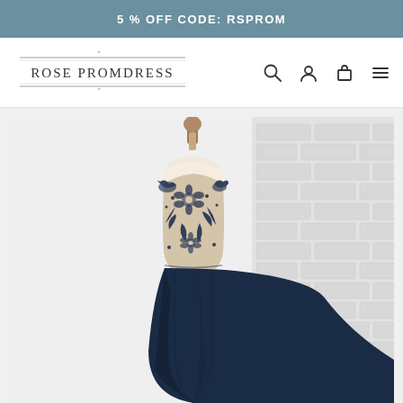5 % OFF CODE: RSPROM
[Figure (logo): Rose Promdress logo with decorative horizontal lines above and below the text, followed by search, account, cart, and menu icons]
[Figure (photo): A navy blue lace applique dress on a mannequin against a white brick wall background. The dress features floral lace embroidery on the bodice and a dark navy chiffon skirt.]